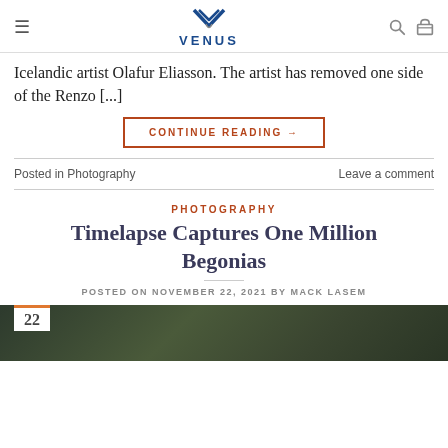VENUS
Icelandic artist Olafur Eliasson. The artist has removed one side of the Renzo [...]
CONTINUE READING →
Posted in Photography    Leave a comment
PHOTOGRAPHY
Timelapse Captures One Million Begonias
POSTED ON NOVEMBER 22, 2021 BY MACK LASEM
[Figure (photo): Aerial dark photograph of begonias with a date badge showing 22]